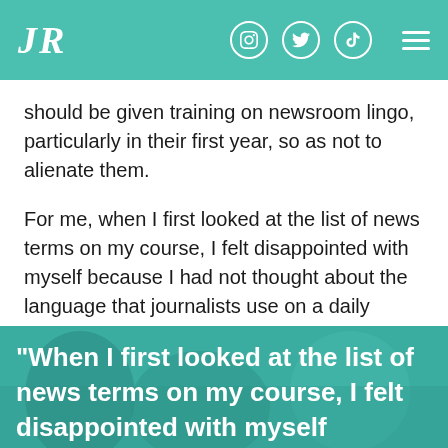JR
should be given training on newsroom lingo, particularly in their first year, so as not to alienate them.
For me, when I first looked at the list of news terms on my course, I felt disappointed with myself because I had not thought about the language that journalists use on a daily basis.
[Figure (photo): Background photo of people in a newsroom or classroom setting, overlaid with teal/green color tint and a pull quote in white bold text reading: "When I first looked at the list of news terms on my course, I felt disappointed with myself]